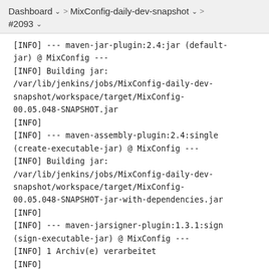Dashboard > MixConfig-daily-dev-snapshot > #2093
[INFO] --- maven-jar-plugin:2.4:jar (default-jar) @ MixConfig ---
[INFO] Building jar:
/var/lib/jenkins/jobs/MixConfig-daily-dev-snapshot/workspace/target/MixConfig-00.05.048-SNAPSHOT.jar
[INFO]
[INFO] --- maven-assembly-plugin:2.4:single (create-executable-jar) @ MixConfig ---
[INFO] Building jar:
/var/lib/jenkins/jobs/MixConfig-daily-dev-snapshot/workspace/target/MixConfig-00.05.048-SNAPSHOT-jar-with-dependencies.jar
[INFO]
[INFO] --- maven-jarsigner-plugin:1.3.1:sign (sign-executable-jar) @ MixConfig ---
[INFO] 1 Archiv(e) verarbeitet
[INFO]